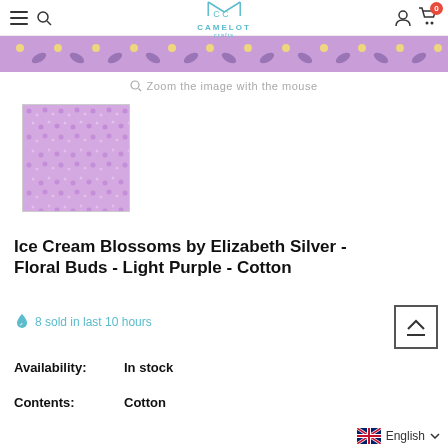Camelot Crafts — navigation bar with menu, search, logo, account, cart (0)
[Figure (photo): Purple floral pattern banner strip with yellow dots and blue-purple leaf shapes on lavender background]
Zoom the image with the mouse
[Figure (photo): Small square fabric swatch showing light purple floral bud pattern — Ice Cream Blossoms by Elizabeth Silver]
Ice Cream Blossoms by Elizabeth Silver - Floral Buds - Light Purple - Cotton
8 sold in last 10 hours
Availability: In stock
Contents: Cotton
English